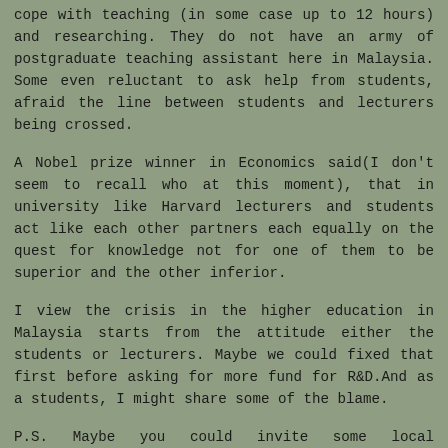cope with teaching (in some case up to 12 hours) and researching. They do not have an army of postgraduate teaching assistant here in Malaysia. Some even reluctant to ask help from students, afraid the line between students and lecturers being crossed.
A Nobel prize winner in Economics said(I don't seem to recall who at this moment), that in university like Harvard lecturers and students act like each other partners each equally on the quest for knowledge not for one of them to be superior and the other inferior.
I view the crisis in the higher education in Malaysia starts from the attitude either the students or lecturers. Maybe we could fixed that first before asking for more fund for R&D.And as a students, I might share some of the blame.
P.S. Maybe you could invite some local universities students as guest blogger. Then we can really know what is happening in the local U. Though I doubt that some of them never have a clue on anything except for the entertainment industry.